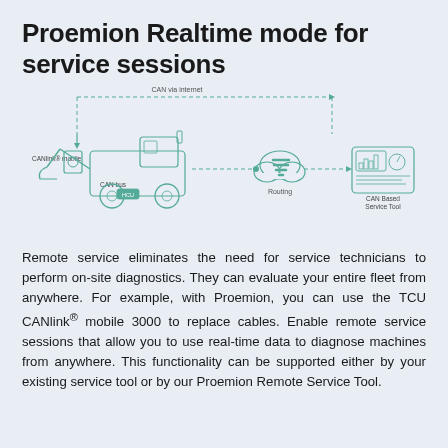Proemion Realtime mode for service sessions
[Figure (schematic): Network diagram showing a construction vehicle (wheel loader) with CANlink® mobile unit connected via CAN bus to an HCU. A dashed arrow labeled 'CAN via internet' leads to a cloud icon labeled 'Routing', which connects via dashed arrow to a 'CAN Based Service Tool' device on the right.]
Remote service eliminates the need for service technicians to perform on-site diagnostics. They can evaluate your entire fleet from anywhere. For example, with Proemion, you can use the TCU CANlink® mobile 3000 to replace cables. Enable remote service sessions that allow you to use real-time data to diagnose machines from anywhere. This functionality can be supported either by your existing service tool or by our Proemion Remote Service Tool.